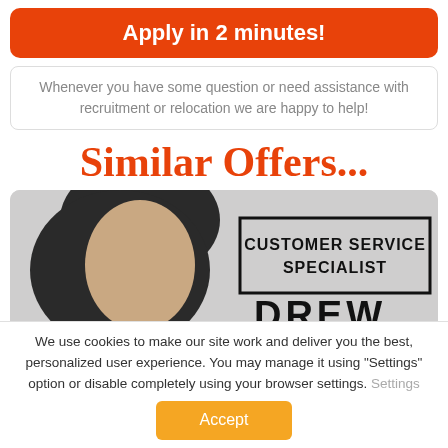Apply in 2 minutes!
Whenever you have some question or need assistance with recruitment or relocation we are happy to help!
Similar Offers...
[Figure (photo): Photo of a young man with dark curly hair next to a sign reading 'CUSTOMER SERVICE SPECIALIST' with partial text 'DREW' below]
We use cookies to make our site work and deliver you the best, personalized user experience. You may manage it using "Settings" option or disable completely using your browser settings. Settings
Accept